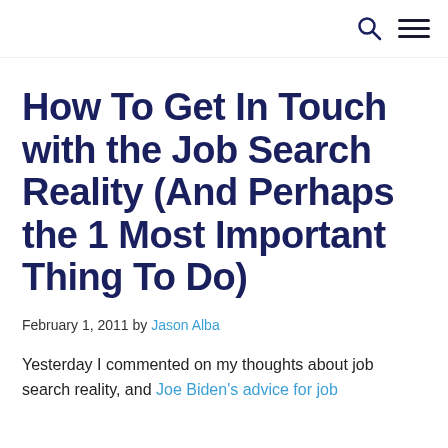[search icon] [menu icon]
How To Get In Touch with the Job Search Reality (And Perhaps the 1 Most Important Thing To Do)
February 1, 2011 by Jason Alba
Yesterday I commented on my thoughts about job search reality, and Joe Biden's advice for job